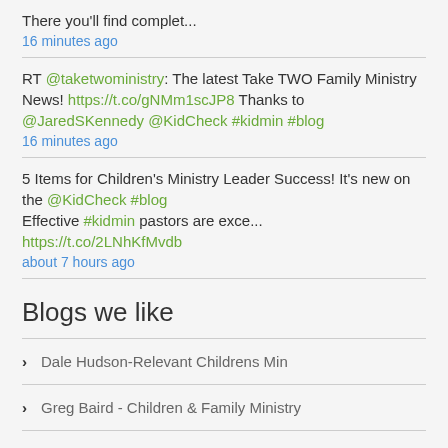There you'll find complet...
16 minutes ago
RT @taketwoministry: The latest Take TWO Family Ministry News! https://t.co/gNMm1scJP8 Thanks to @JaredSKennedy @KidCheck #kidmin #blog
16 minutes ago
5 Items for Children's Ministry Leader Success! It's new on the @KidCheck #blog
Effective #kidmin pastors are exce...
https://t.co/2LNhKfMvdb
about 7 hours ago
Blogs we like
Dale Hudson-Relevant Childrens Min
Greg Baird - Children & Family Ministry